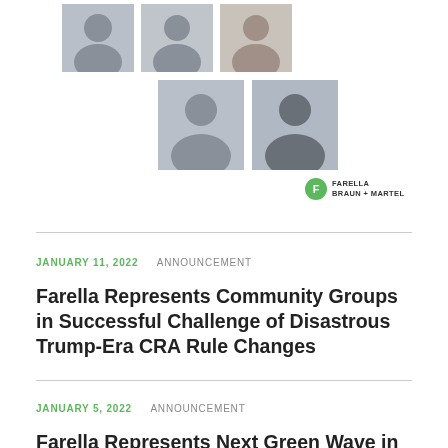[Figure (photo): Five professional headshots arranged in two rows: three in the first row and two in the second row, with the Farella Braun + Martel law firm logo below]
JANUARY 11, 2022   ANNOUNCEMENT
Farella Represents Community Groups in Successful Challenge of Disastrous Trump-Era CRA Rule Changes
JANUARY 5, 2022   ANNOUNCEMENT
Farella Represents Next Green Wave in